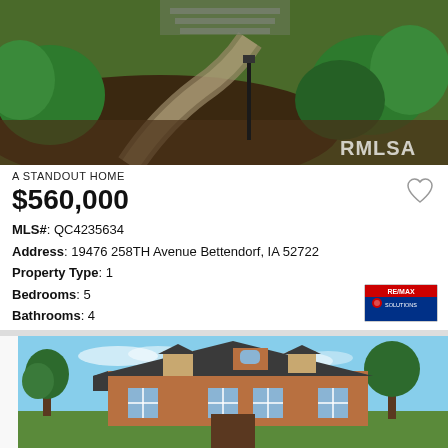[Figure (photo): Aerial/garden view of landscaped property with curved path, mulched garden beds, and greenery. RMLSA watermark in bottom right corner.]
A STANDOUT HOME
$560,000
MLS#: QC4235634
Address: 19476 258TH Avenue Bettendorf, IA 52722
Property Type: 1
Bedrooms: 5
Bathrooms: 4
[Figure (logo): RE/MAX Solutions logo badge]
[Figure (photo): Exterior front view of a two-story brick residential home with gabled roof, dormer windows, and surrounding mature trees under a blue sky.]